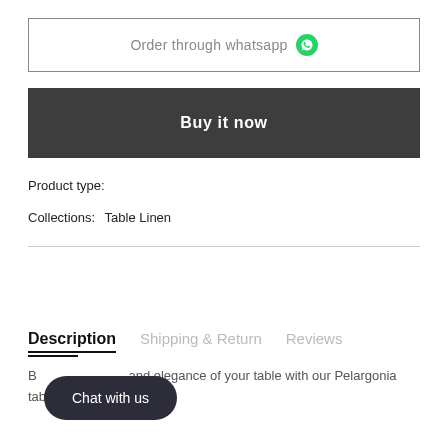Order through whatsapp
Buy it now
Product type:
Collections:  Table Linen
Description  Shipping & Return  Reviews
Enhance the beauty and elegance of your table with our Pelargonia table cover.
Chat with us